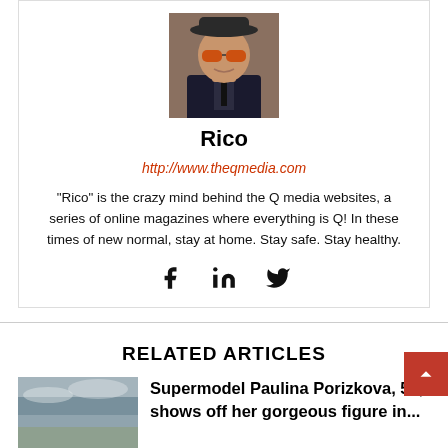[Figure (photo): Author profile photo of Rico wearing sunglasses and a dark suit with a hat]
Rico
http://www.theqmedia.com
"Rico" is the crazy mind behind the Q media websites, a series of online magazines where everything is Q! In these times of new normal, stay at home. Stay safe. Stay healthy.
[Figure (infographic): Social media icons: Facebook, LinkedIn, Twitter]
RELATED ARTICLES
[Figure (photo): Thumbnail image for related article showing a landscape/sky scene]
Supermodel Paulina Porizkova, 57, shows off her gorgeous figure in...